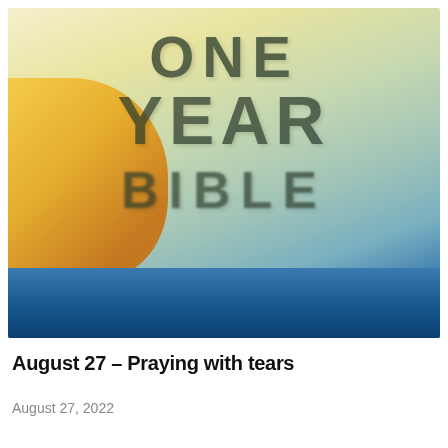[Figure (photo): Blurred/soft-focus book cover of 'One Year Bible' showing large bold text 'ONE YEAR BIBLE' against a background with golden/orange land or sun shape on the left, blue water at the bottom, and a light yellowish-green sky.]
August 27 – Praying with tears
August 27, 2022